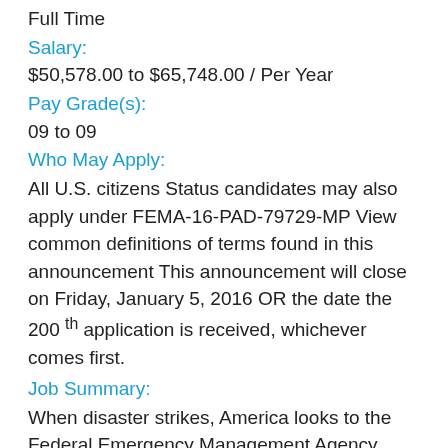Full Time
Salary:
$50,578.00 to $65,748.00 / Per Year
Pay Grade(s):
09 to 09
Who May Apply:
All U.S. citizens Status candidates may also apply under FEMA-16-PAD-79729-MP View common definitions of terms found in this announcement This announcement will close on Friday, January 5, 2016 OR the date the 200 th application is received, whichever comes first.
Job Summary:
When disaster strikes, America looks to the Federal Emergency Management Agency (FEMA). Now FEMA looks to you. Join our team and use your talent to support Americans in their times of greatest need. FEMA prepares the nation for all hazards and manages Federal